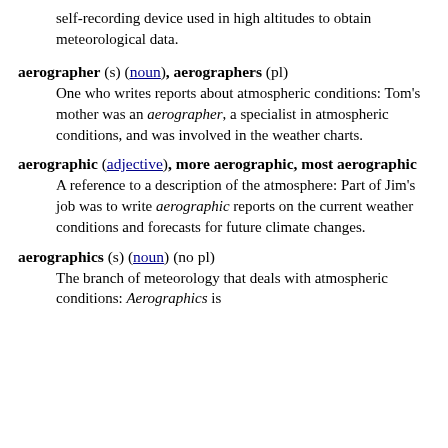self-recording device used in high altitudes to obtain meteorological data.
aerographer (s) (noun), aerographers (pl)
One who writes reports about atmospheric conditions: Tom's mother was an aerographer, a specialist in atmospheric conditions, and was involved in the weather charts.
aerographic (adjective), more aerographic, most aerographic
A reference to a description of the atmosphere: Part of Jim's job was to write aerographic reports on the current weather conditions and forecasts for future climate changes.
aerographics (s) (noun) (no pl)
The branch of meteorology that deals with atmospheric conditions: Aerographics is